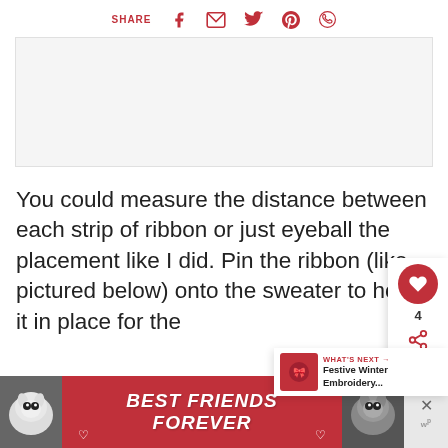SHARE [facebook] [email] [twitter] [pinterest] [whatsapp]
[Figure (other): Advertisement placeholder box, light gray background]
You could measure the distance between each strip of ribbon or just eyeball the placement like I did. Pin the ribbon (like pictured below) onto the sweater to hold it in place for the
[Figure (other): Sidebar panel with red heart/like button showing count 4 and share icon]
[Figure (other): What's Next panel showing Festive Winter Embroidery... with thumbnail]
[Figure (other): Bottom advertisement banner: BEST FRIENDS FOREVER with cat photos on left and right, close button on right]